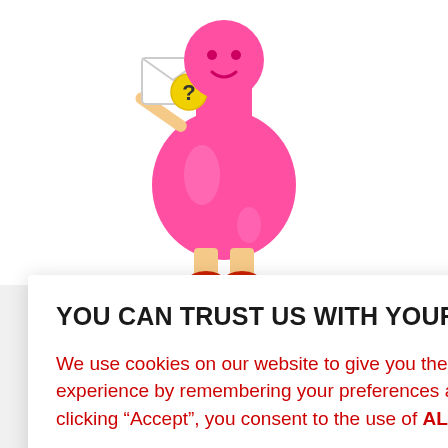[Figure (illustration): A cartoon character shaped like a pink flask/beaker with legs wearing red shoes, holding an envelope with a yellow question mark badge]
YOU CAN TRUST US WITH YOUR DATA
We use cookies on our website to give you the most relevant experience by remembering your preferences and repeat visits. By clicking “Accept”, you consent to the use of ALL the cookies.
Do not sell my personal information.
Cookie Settings  Accept
adge
able Badge